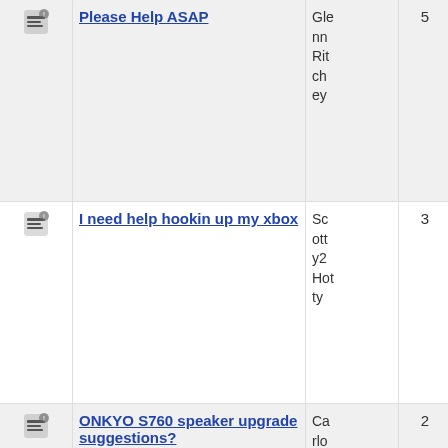|  | Title | Author | Replies | Date |
| --- | --- | --- | --- | --- |
| [icon] | Please Help ASAP | Glenn Ritchey | 5 | 2005-02-27 02:24 |
| [icon] | I need help hookin up my xbox | Scotty2 Hotty | 3 | 2005-02-26 22:55 |
| [icon] | ONKYO S760 speaker upgrade suggestions? | Carlos Carrer | 2 | 2005-02-25 19: |